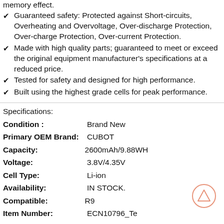Longer lifespan – thanks to modern Lithium technology with no memory effect.
Guaranteed safety: Protected against Short-circuits, Overheating and Overvoltage, Over-discharge Protection, Over-charge Protection, Over-current Protection.
Made with high quality parts; guaranteed to meet or exceed the original equipment manufacturer's specifications at a reduced price.
Tested for safety and designed for high performance.
Built using the highest grade cells for peak performance.
Specifications:
Condition :    Brand New
Primary OEM Brand:    CUBOT
Capacity:   2600mAh/9.88WH
Voltage:    3.8V/4.35V
Cell Type:    Li-ion
Availability:    IN STOCK.
Compatible:   R9
Item Number:    ECN10796_Te